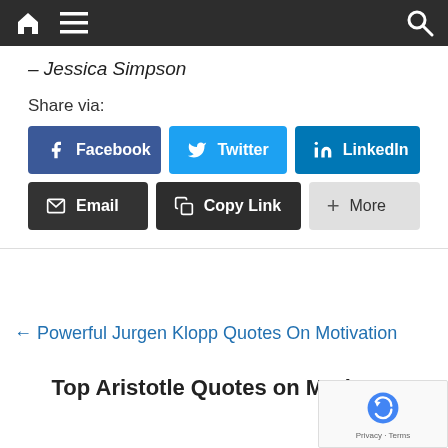Navigation bar with home, menu, and search icons
– Jessica Simpson
Share via:
[Figure (screenshot): Social share buttons: Facebook, Twitter, LinkedIn, Email, Copy Link, More]
← Powerful Jurgen Klopp Quotes On Motivation
Top Aristotle Quotes on Motiva…